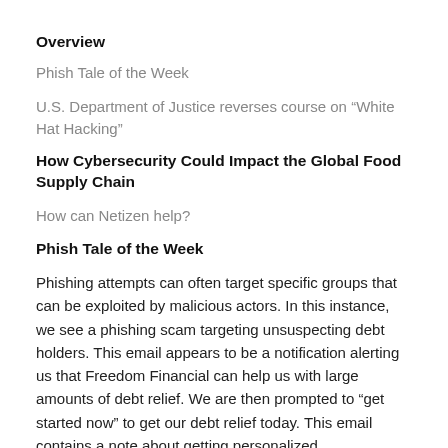Overview
Phish Tale of the Week
U.S. Department of Justice reverses course on “White Hat Hacking”
How Cybersecurity Could Impact the Global Food Supply Chain
How can Netizen help?
Phish Tale of the Week
Phishing attempts can often target specific groups that can be exploited by malicious actors. In this instance, we see a phishing scam targeting unsuspecting debt holders. This email appears to be a notification alerting us that Freedom Financial can help us with large amounts of debt relief. We are then prompted to “get started now” to get our debt relief today. This email contains a note about getting personalized